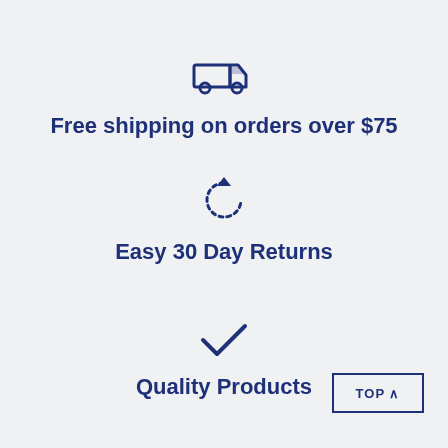[Figure (illustration): Dark blue truck/delivery vehicle icon]
Free shipping on orders over $75
[Figure (illustration): Dark blue circular refresh/return arrow icon]
Easy 30 Day Returns
[Figure (illustration): Dark blue checkmark icon]
Quality Products
TOP ∧